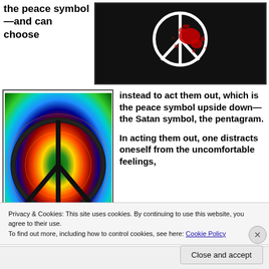the peace symbol—and can choose
[Figure (photo): Dark background with white peace symbol and red blood splatter design]
[Figure (photo): Tie-dye colorful background with black peace symbol (circle with lines)]
instead to act them out, which is the peace symbol upside down—the Satan symbol, the pentagram.

In acting them out, one distracts oneself from the uncomfortable feelings,
Privacy & Cookies: This site uses cookies. By continuing to use this website, you agree to their use.
To find out more, including how to control cookies, see here: Cookie Policy
Close and accept